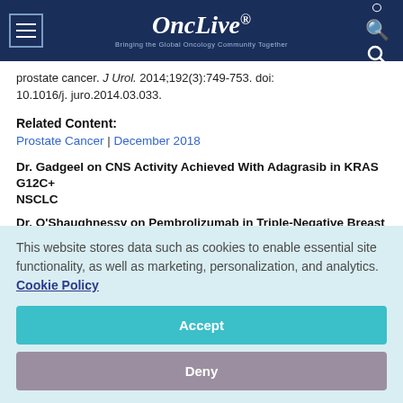OncLive — Bringing the Global Oncology Community Together
prostate cancer. J Urol. 2014;192(3):749-753. doi: 10.1016/j. juro.2014.03.033.
Related Content:
Prostate Cancer | December 2018
Dr. Gadgeel on CNS Activity Achieved With Adagrasib in KRAS G12C+ NSCLC
Dr. O'Shaughnessy on Pembrolizumab in Triple-Negative Breast Cancer
Practical Considerations in Selecting Therapy for Metastatic CRPC
This website stores data such as cookies to enable essential site functionality, as well as marketing, personalization, and analytics. Cookie Policy
Accept
Deny